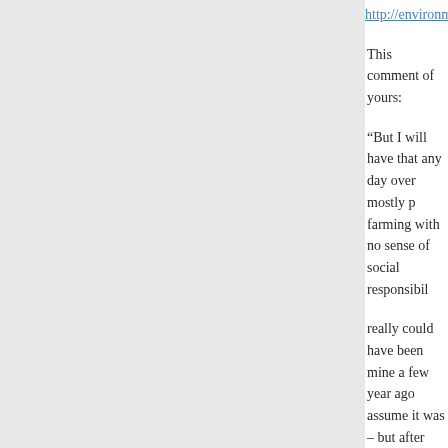http://environmentalresearchweb.org/cws/a
This comment of yours:
“But I will have that any day over mostly p farming with no sense of social responsibil
really could have been mine a few year ago assume it was – but after what I’ve learned stop and wonder, is this so? What is industr farmers have no sense of social responsibil do they do in order to make a profit, that th
I know there were several harmful pesticide methods that luckily were abandoned, and management, and crop rotations, cover cro nowadays. I know there are improvements unfortunately I see many of them antagonis movement.